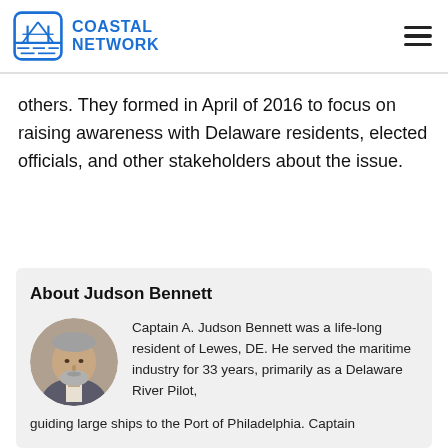COASTAL NETWORK
others. They formed in April of 2016 to focus on raising awareness with Delaware residents, elected officials, and other stakeholders about the issue.
About Judson Bennett
[Figure (photo): Circular portrait photo of Captain A. Judson Bennett, a middle-aged man with gray beard and hair wearing a suit jacket.]
Captain A. Judson Bennett was a life-long resident of Lewes, DE. He served the maritime industry for 33 years, primarily as a Delaware River Pilot, guiding large ships to the Port of Philadelphia. Captain